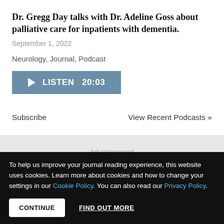Dr. Gregg Day talks with Dr. Adeline Goss about palliative care for inpatients with dementia.
September 1, 2022
Neurology, Journal, Podcast
[Figure (other): Blue listen button with play icon, text LISTEN 20:03]
Subscribe    View Recent Podcasts »
Advertisement
[Figure (photo): Advertisement image with blue/light blue gradient, close X button in top right]
To help us improve your journal reading experience, this website uses cookies. Learn more about cookies and how to change your settings in our Cookie Policy. You can also read our Privacy Policy.